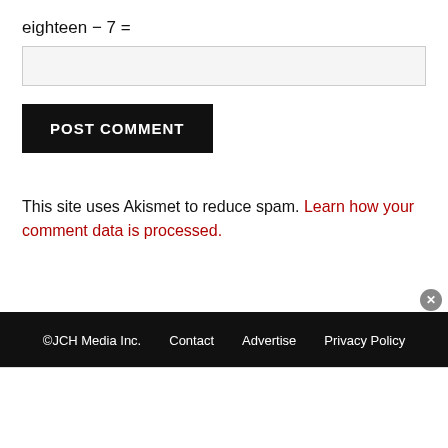eighteen − 7 =
POST COMMENT
This site uses Akismet to reduce spam. Learn how your comment data is processed.
©JCH Media Inc.   Contact   Advertise   Privacy Policy